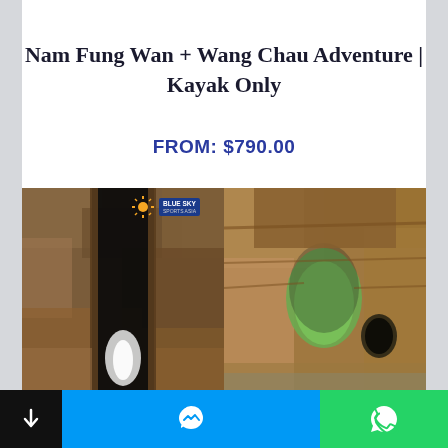Nam Fung Wan + Wang Chau Adventure | Kayak Only
FROM: $790.00
[Figure (photo): Two side-by-side cave/rock formation photos with Blue Sky Sports Asia watermark logo. Left: dark cave interior with contrast light. Right: rocky cliff with green vegetation and cave arch.]